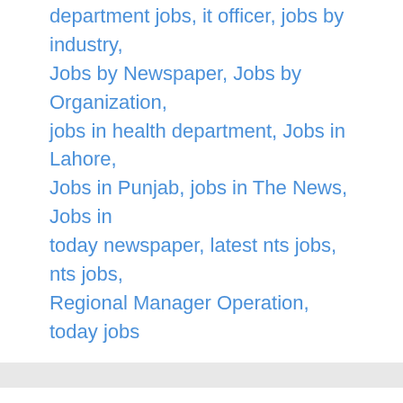department jobs, it officer, jobs by industry, Jobs by Newspaper, Jobs by Organization, jobs in health department, Jobs in Lahore, Jobs in Punjab, jobs in The News, Jobs in today newspaper, latest nts jobs, nts jobs, Regional Manager Operation, today jobs
1  2  3  Next →
Search